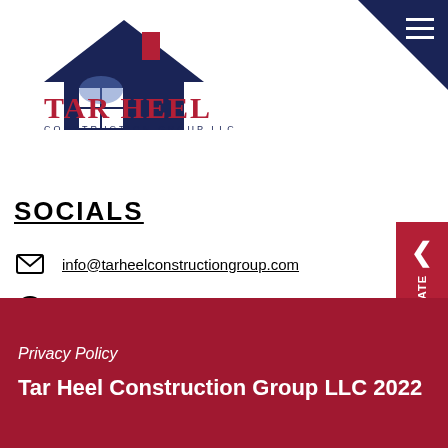[Figure (logo): Tar Heel Construction Group LLC logo with house/roof graphic in navy blue and red, text TAR HEEL in red serif font, CONSTRUCTION GROUP LLC beneath in navy]
SOCIALS
info@tarheelconstructiongroup.com
tarheelconstructiongroup
@tarheelconstructiongroup
@TarConstruction
Youtube
GET FREE ESTIMATE
Privacy Policy
Tar Heel Construction Group LLC 2022